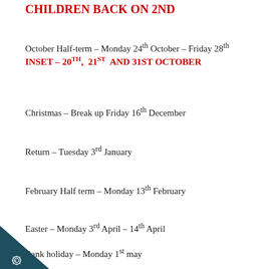CHILDREN BACK ON 2ND
October Half-term – Monday 24th October – Friday 28th
INSET – 20TH, 21ST AND 31ST OCTOBER
Christmas – Break up Friday 16th December
Return – Tuesday 3rd January
February Half term – Monday 13th February
Easter – Monday 3rd April – 14th April
Bank holiday – Monday 1st may
[Figure (logo): Dark teal triangle corner badge with white gear/star icon and letter C]